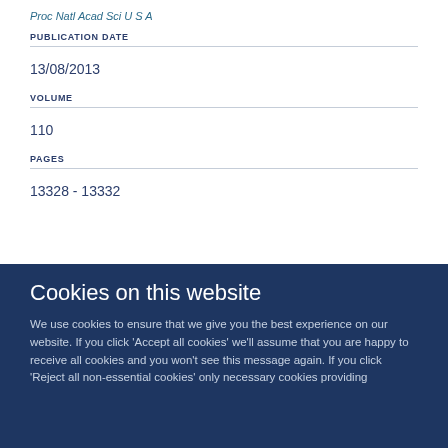Proc Natl Acad Sci U S A
PUBLICATION DATE
13/08/2013
VOLUME
110
PAGES
13328 - 13332
Cookies on this website
We use cookies to ensure that we give you the best experience on our website. If you click 'Accept all cookies' we'll assume that you are happy to receive all cookies and you won't see this message again. If you click 'Reject all non-essential cookies' only necessary cookies providing